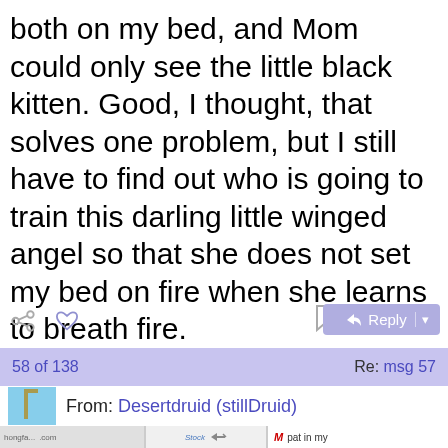both on my bed, and Mom could only see the little black kitten. Good, I thought, that solves one problem, but I still have to find out who is going to train this darling little winged angel so that she does not set my bed on fire when she learns to breath fire.
58 of 138    Re: msg 57
From: Desertdruid (stillDruid)
[Figure (screenshot): Advertisement section with motorcycle image, bicycle image, and partial text 'pat in my' and 'at is in th' with logos]